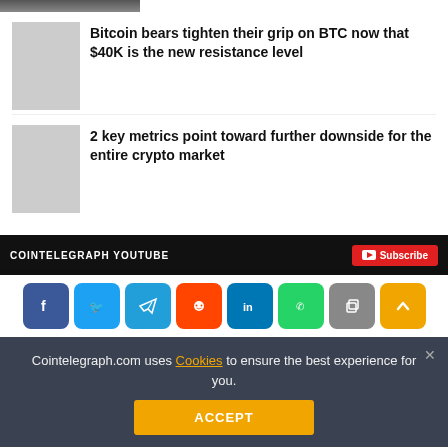[Figure (photo): Small thumbnail image strip at top of page, partially visible]
[Figure (photo): Article thumbnail placeholder for Bitcoin bears article]
Bitcoin bears tighten their grip on BTC now that $40K is the new resistance level
[Figure (photo): Article thumbnail placeholder for 2 key metrics article]
2 key metrics point toward further downside for the entire crypto market
[Figure (screenshot): COINTELEGRAPH YOUTUBE banner with Subscribe button]
[Figure (infographic): Social share buttons: Facebook, Twitter, Telegram, Reddit, LinkedIn, WhatsApp, Copy, Scroll-up]
Cointelegraph.com uses Cookies to ensure the best experience for you.
ACCEPT